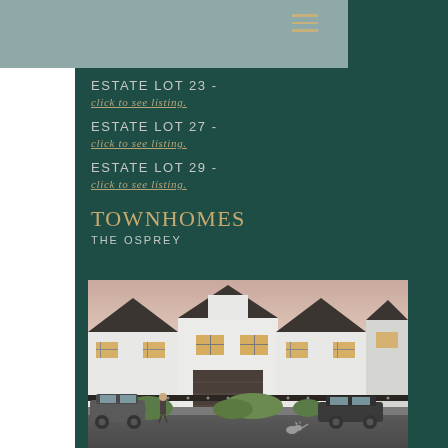ESTATE LOT 23 - click to see listing.
ESTATE LOT 27 - click to see listing.
ESTATE LOT 29 - click to see listing.
TOWNHOMES
THE OSPREY
[Figure (photo): Rendered exterior photo of The Osprey townhomes — white modern farmhouse-style multi-unit townhomes with dark roofs, garage doors, cars parked in front, landscaping, and a person walking a cat at dusk.]